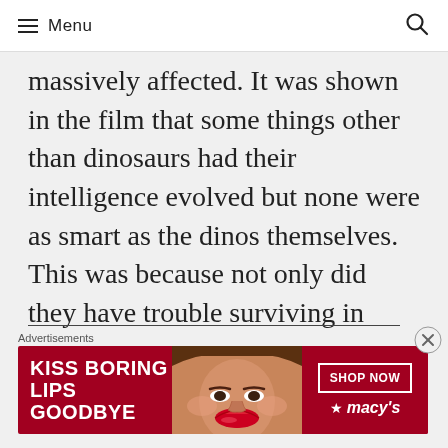Menu
massively affected. It was shown in the film that some things other than dinosaurs had their intelligence evolved but none were as smart as the dinos themselves. This was because not only did they have trouble surviving in these rough times, too- forcing them to evolve and become smarter- there was another aha moment I had here. Like you said, Mr. Negroni, if
Advertisements
[Figure (photo): Advertisement banner for Macy's lipstick product. Red background with white text reading 'KISS BORING LIPS GOODBYE', a woman's face with red lips, a 'SHOP NOW' button, and the Macy's star logo.]